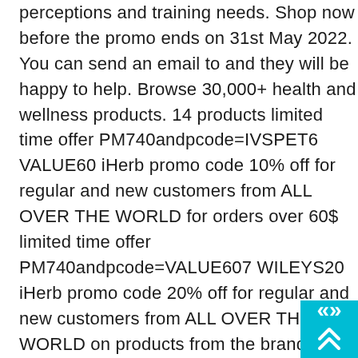perceptions and training needs. Shop now before the promo ends on 31st May 2022. You can send an email to and they will be happy to help. Browse 30,000+ health and wellness products. 14 products limited time offer PM740andpcode=IVSPET6 VALUE60 iHerb promo code 10% off for regular and new customers from ALL OVER THE WORLD for orders over 60$ limited time offer PM740andpcode=VALUE607 WILEYS20 iHerb promo code 20% off for regular and new customers from ALL OVER THE WORLD on products from the brand Wiley's Finest wild Alaskan fish oil maximum EPA content, prenatal fish oil, fish oil + vitamin K2, fish oil cholesterol support, supplement for good vision, etc. What's more, you'll find the best discounts in your country Singapore provided by Picodi the best and biggest discounts provider on earth. Use the promo code BFELEVEN at checkout. In this May, check out iHerb's top 1500 immune supplements, prices start from only HK$7. Over 4,735 discounts activated wit
[Figure (other): Cyan/teal square button with double upward chevron arrows in white, positioned at bottom-right corner]